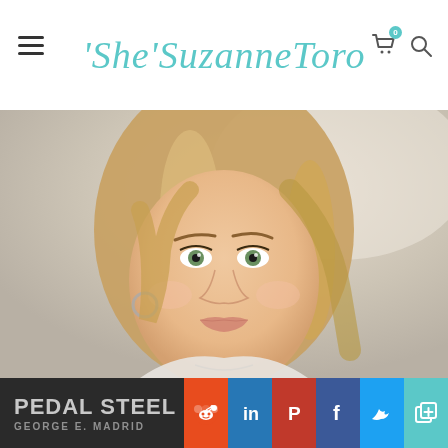'She'SuzanneToro
[Figure (photo): Portrait photo of a young blonde woman with green eyes, light skin, wearing a hoop earring and necklace, white top, looking slightly upward, soft light background]
PEDAL STEEL
GEORGE E. MADRID
[Figure (infographic): Social sharing icons: Reddit (orange), LinkedIn (blue), Pinterest (red), Facebook (dark blue), Twitter (light blue), Share/plus (teal)]